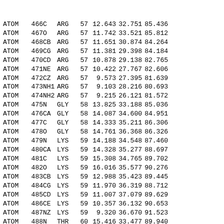| Record | Serial | Name | ResName | ResSeq | X | Y | Z |  |
| --- | --- | --- | --- | --- | --- | --- | --- | --- |
| ATOM | 466 | C | ARG | 57 | 12.643 | 32.751 | 85.436 |  |
| ATOM | 467 | O | ARG | 57 | 11.742 | 33.521 | 85.812 |  |
| ATOM | 468 | CB | ARG | 57 | 11.651 | 30.874 | 84.264 |  |
| ATOM | 469 | CG | ARG | 57 | 11.381 | 29.398 | 84.184 |  |
| ATOM | 470 | CD | ARG | 57 | 10.878 | 29.138 | 82.765 |  |
| ATOM | 471 | NE | ARG | 57 | 10.422 | 27.767 | 82.606 |  |
| ATOM | 472 | CZ | ARG | 57 | 9.573 | 27.395 | 81.639 |  |
| ATOM | 473 | NH1 | ARG | 57 | 9.103 | 28.216 | 80.693 |  |
| ATOM | 474 | NH2 | ARG | 57 | 9.215 | 26.121 | 81.572 |  |
| ATOM | 475 | N | GLY | 58 | 13.825 | 33.188 | 85.036 |  |
| ATOM | 476 | CA | GLY | 58 | 14.087 | 34.600 | 84.951 |  |
| ATOM | 477 | C | GLY | 58 | 14.333 | 35.211 | 86.306 |  |
| ATOM | 478 | O | GLY | 58 | 14.761 | 36.368 | 86.326 |  |
| ATOM | 479 | N | LYS | 59 | 14.188 | 34.548 | 87.460 |  |
| ATOM | 480 | CA | LYS | 59 | 14.328 | 35.277 | 88.697 |  |
| ATOM | 481 | C | LYS | 59 | 15.308 | 34.765 | 89.702 |  |
| ATOM | 482 | O | LYS | 59 | 16.016 | 35.577 | 90.276 |  |
| ATOM | 483 | CB | LYS | 59 | 12.988 | 35.423 | 89.445 |  |
| ATOM | 484 | CG | LYS | 59 | 11.970 | 36.319 | 88.712 |  |
| ATOM | 485 | CD | LYS | 59 | 11.007 | 37.079 | 89.629 |  |
| ATOM | 486 | CE | LYS | 59 | 10.357 | 36.132 | 90.653 |  |
| ATOM | 487 | NZ | LYS | 59 | 9.320 | 36.670 | 91.523 |  |
| ATOM | 488 | N | THR | 60 | 15.416 | 33.477 | 89.940 |  |
| ATOM | 489 | CA | THR | 60 | 16.296 | 32.989 | 91.006 |  |
| ATOM | 490 | C | THR | 60 | 17.658 | 32.592 | 90.465 |  |
| ATOM | 491 | O | THR | 60 | 17.771 | 32.307 | 89.271 |  |
| ATOM | 492 | CB | THR | 60 | 15.602 | 31.780 | 91.710 |  |
| ATOM | 493 | OG1 | THR | 60 | 15.291 | 30.774 | 90.730 |  |
| ATOM | 494 | CG2 | THR | 60 | 14.304 | 32.233 | 92.398 |  |
| ATOM | 495 | N | TYR | 61 | 18.702 | 32.594 | 91.269 |  |
| ATOM | 496 | CA | TYR | 61 |  |  |  |  |